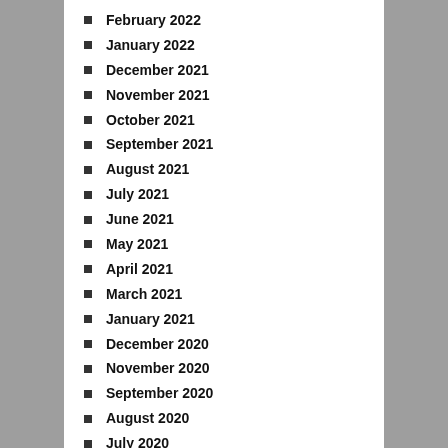February 2022
January 2022
December 2021
November 2021
October 2021
September 2021
August 2021
July 2021
June 2021
May 2021
April 2021
March 2021
January 2021
December 2020
November 2020
September 2020
August 2020
July 2020
May 2020
April 2020
March 2020